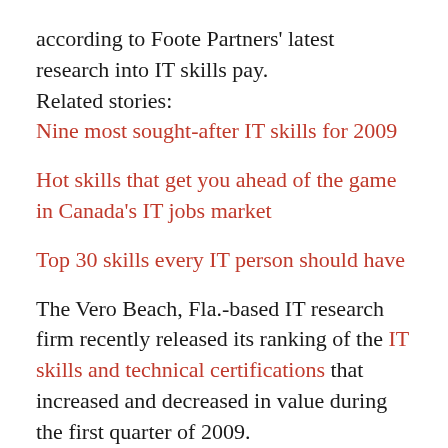according to Foote Partners' latest research into IT skills pay.
Related stories:
Nine most sought-after IT skills for 2009
Hot skills that get you ahead of the game in Canada's IT jobs market
Top 30 skills every IT person should have
The Vero Beach, Fla.-based IT research firm recently released its ranking of the IT skills and technical certifications that increased and decreased in value during the first quarter of 2009.